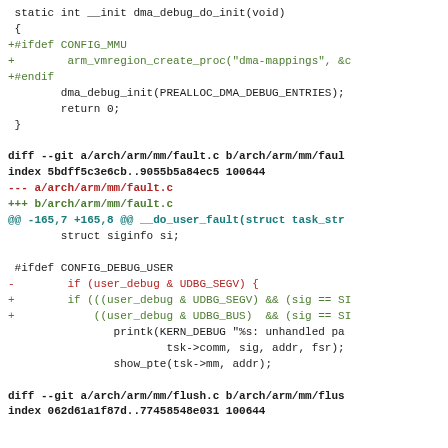Code diff showing changes to dma_debug and fault.c files in ARM architecture
[Figure (screenshot): Source code diff showing git changes to ARM architecture files including dma_debug_do_init function and fault.c modifications]